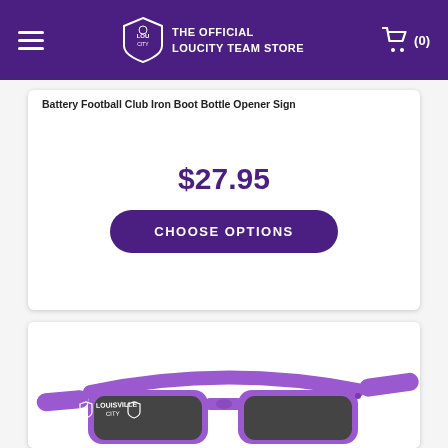THE OFFICIAL LOUCITY TEAM STORE
$27.95
CHOOSE OPTIONS
[Figure (photo): Purple Louisville City FC sunglasses with dark lenses and Louisville City branding on the temple]